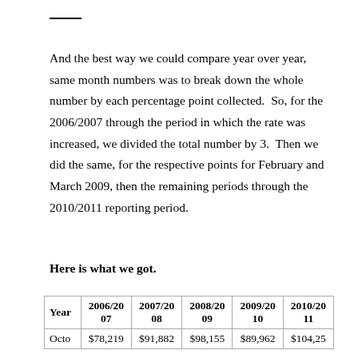And the best way we could compare year over year, same month numbers was to break down the whole number by each percentage point collected.  So, for the 2006/2007 through the period in which the rate was increased, we divided the total number by 3.  Then we did the same, for the respective points for February and March 2009, then the remaining periods through the 2010/2011 reporting period.
Here is what we got.
| Year | 2006/2007 | 2007/2008 | 2008/2009 | 2009/2010 | 2010/2011 |
| --- | --- | --- | --- | --- | --- |
| Octo | $78,219 | $91,882 | $98,155 | $89,962 | $104,25 |